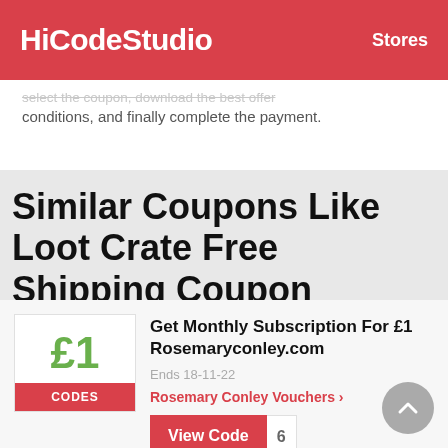HiCodeStudio   Stores
select the coupon, download the best offer conditions, and finally complete the payment.
Similar Coupons Like Loot Crate Free Shipping Coupon
£1 CODES
Get Monthly Subscription For £1 Rosemaryconley.com
Ends 18-11-22
Rosemary Conley Vouchers ›
View Code   6